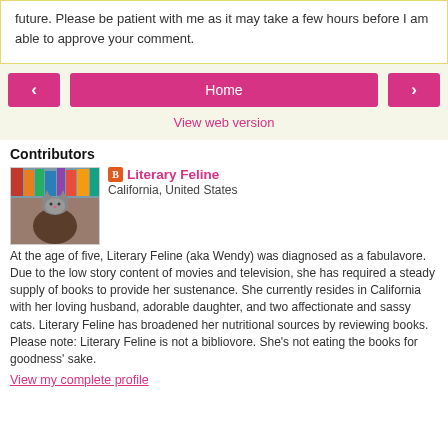future. Please be patient with me as it may take a few hours before I am able to approve your comment.
[Figure (other): Navigation buttons: left arrow, Home button, right arrow]
View web version
Contributors
[Figure (photo): Photo of a cat sitting on a person's head]
Literary Feline
California, United States
At the age of five, Literary Feline (aka Wendy) was diagnosed as a fabulavore. Due to the low story content of movies and television, she has required a steady supply of books to provide her sustenance. She currently resides in California with her loving husband, adorable daughter, and two affectionate and sassy cats. Literary Feline has broadened her nutritional sources by reviewing books. Please note: Literary Feline is not a bibliovore. She's not eating the books for goodness' sake.
View my complete profile